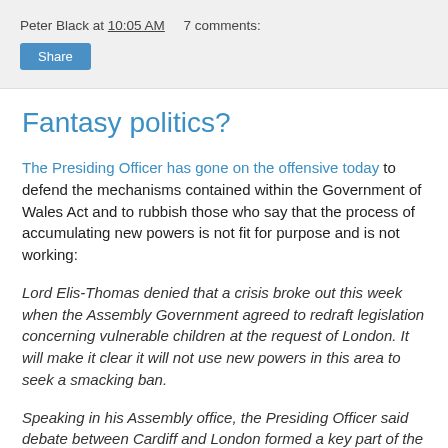Peter Black at 10:05 AM   7 comments:
Fantasy politics?
The Presiding Officer has gone on the offensive today to defend the mechanisms contained within the Government of Wales Act and to rubbish those who say that the process of accumulating new powers is not fit for purpose and is not working:
Lord Elis-Thomas denied that a crisis broke out this week when the Assembly Government agreed to redraft legislation concerning vulnerable children at the request of London. It will make it clear it will not use new powers in this area to seek a smacking ban.
Speaking in his Assembly office, the Presiding Officer said debate between Cardiff and London formed a key part of the